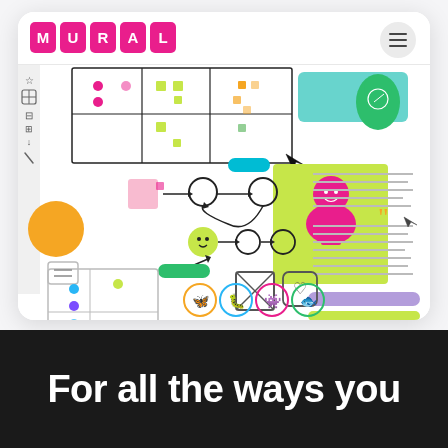[Figure (screenshot): MURAL collaborative whiteboard app screenshot showing a digital canvas with colorful sticky notes, flowchart elements, icons, diagrams, and a pink bust illustration on a yellow background. The browser UI shows the MURAL logo and hamburger menu.]
For all the ways you